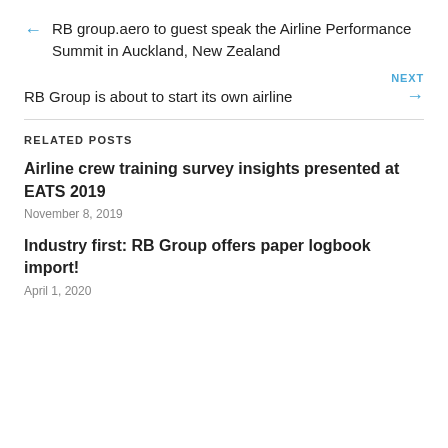← RB group.aero to guest speak the Airline Performance Summit in Auckland, New Zealand
NEXT → RB Group is about to start its own airline
RELATED POSTS
Airline crew training survey insights presented at EATS 2019
November 8, 2019
Industry first: RB Group offers paper logbook import!
April 1, 2020